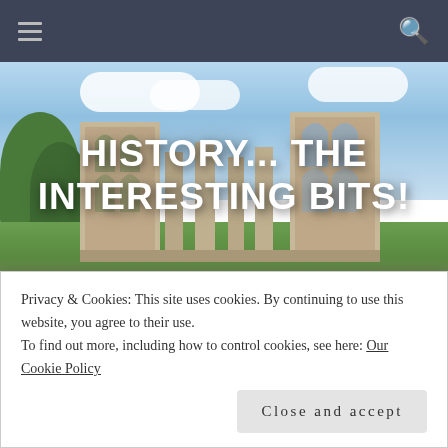[Figure (screenshot): Website navigation bar with dark gray background, hamburger menu icon on left, search icon on right]
[Figure (photo): Hero banner image showing ruins of a stone abbey or cathedral with Gothic arches, set against a blue sky with clouds and surrounded by green trees and grass. Large white bold text overlay reads: HISTORY... THE INTERESTING BITS!]
The Parentage of
Privacy & Cookies: This site uses cookies. By continuing to use this website, you agree to their use.
To find out more, including how to control cookies, see here: Our Cookie Policy
Close and accept